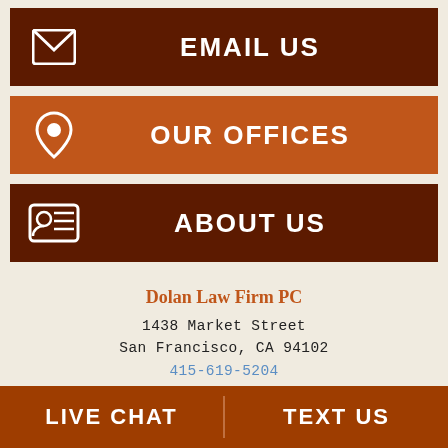EMAIL US
OUR OFFICES
ABOUT US
Dolan Law Firm PC
1438 Market Street
San Francisco, CA 94102
415-619-5204
San Francisco Law Office Map
Dolan Law Firm PC
1498 Alice Street
Oakland, CA 94612
LIVE CHAT | TEXT US